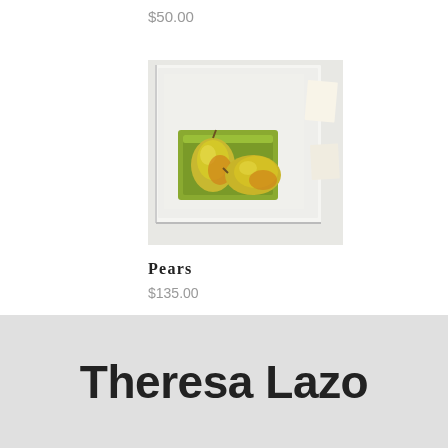$50.00
$75.00
[Figure (photo): Painting of two yellow-green pears in a green tray, displayed on a white canvas/board, shown hanging on a wall with some papers nearby.]
Pears
$135.00
Theresa Lazo